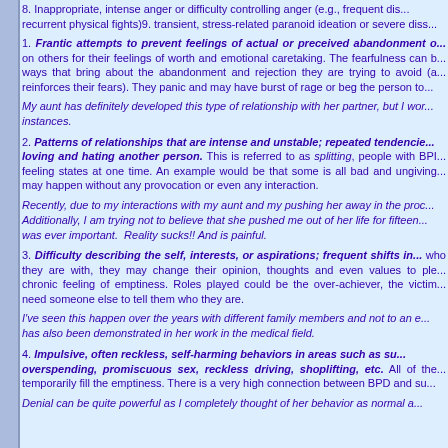8. Inappropriate, intense anger or difficulty controlling anger (e.g., frequent disp... recurrent physical fights)9. transient, stress-related paranoid ideation or severe diss...
1. Frantic attempts to prevent feelings of actual or preceived abandonment o... on others for their feelings of worth and emotional caretaking. The fearfulness can b... ways that bring about the abandonment and rejection they are trying to avoid (a... reinforces their fears). They panic and may have burst of rage or beg the person to...
My aunt has definitely developed this type of relationship with her partner, but I wor... instances.
2. Patterns of relationships that are intense and unstable; repeated tendencie... loving and hating another person. This is referred to as splitting, people with BPI... feeling states at one time. An example would be that some is all bad and ungiving... may happen without any provocation or even any interaction.
Recently, due to my interactions with my aunt and my pushing her away in the proc... Additionally, I am trying not to believe that she pushed me out of her life for fifteen... was ever important. Reality sucks!! And is painful.
3. Difficulty describing the self, interests, or aspirations; frequent shifts in... who they are with, they may change their opinion, thoughts and even values to ple... chronic feeling of emptiness. Roles played could be the over-achiever, the victim... need someone else to tell them who they are.
I've seen this happen over the years with different family members and not to an e... has also been demonstrated in her work in the medical field.
4. Impulsive, often reckless, self-harming behaviors in areas such as su... overspending, promiscuous sex, reckless driving, shoplifting, etc. All of the... temporarily fill the emptiness. There is a very high connection between BPD and su...
Denial can be quite powerful as I completely thought of her behavior as normal a...